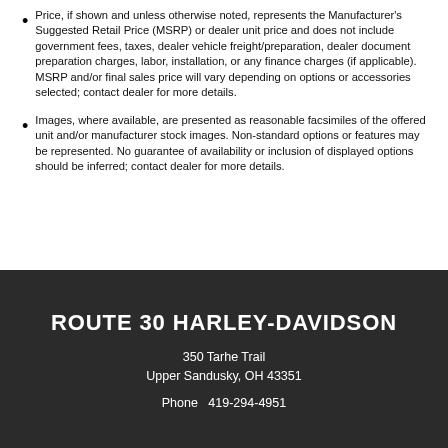Price, if shown and unless otherwise noted, represents the Manufacturer's Suggested Retail Price (MSRP) or dealer unit price and does not include government fees, taxes, dealer vehicle freight/preparation, dealer document preparation charges, labor, installation, or any finance charges (if applicable). MSRP and/or final sales price will vary depending on options or accessories selected; contact dealer for more details.
Images, where available, are presented as reasonable facsimiles of the offered unit and/or manufacturer stock images. Non-standard options or features may be represented. No guarantee of availability or inclusion of displayed options should be inferred; contact dealer for more details.
ROUTE 30 HARLEY-DAVIDSON
350 Tarhe Trail
Upper Sandusky, OH 43351
Phone  419-294-4951